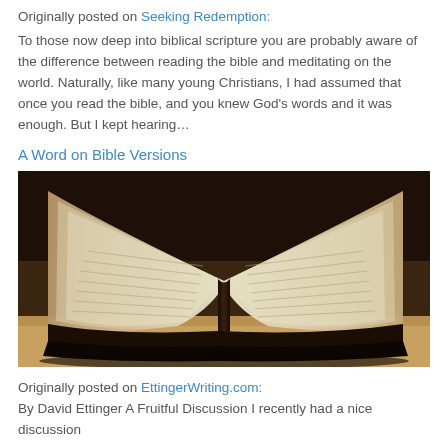Originally posted on Seeking Redemption:
To those now deep into biblical scripture you are probably aware of the difference between reading the bible and meditating on the world. Naturally, like many young Christians, I had assumed that once you read the bible, and you knew God’s words and it was enough. But I kept hearing…
A Word on Bible Versions
[Figure (photo): Open Bible with yellowed pages, viewed from a low angle showing the spine and spread pages, sepia/warm tone photograph]
Originally posted on EttingerWriting.com:
By David Ettinger A Fruitful Discussion I recently had a nice discussion